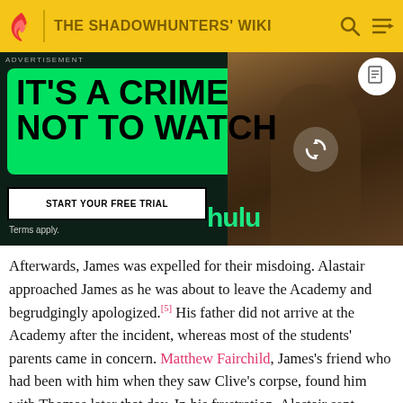THE SHADOWHUNTERS' WIKI
[Figure (screenshot): Hulu advertisement banner on dark green background. Left side has green rounded rectangle with bold text 'IT'S A CRIME NOT TO WATCH', a white button 'START YOUR FREE TRIAL', 'Terms apply.' text, and green 'hulu' logo. Right side shows a photo of a young man in a library-like setting. A reload icon circle is overlaid on the photo.]
Afterwards, James was expelled for their misdoing. Alastair approached James as he was about to leave the Academy and begrudgingly apologized.[5] His father did not arrive at the Academy after the incident, whereas most of the students' parents came in concern. Matthew Fairchild, James's friend who had been with him when they saw Clive's corpse, found him with Thomas later that day. In his frustration, Alastair sent Thomas away so he could taunt Matthew with a disgusting rumor he'd